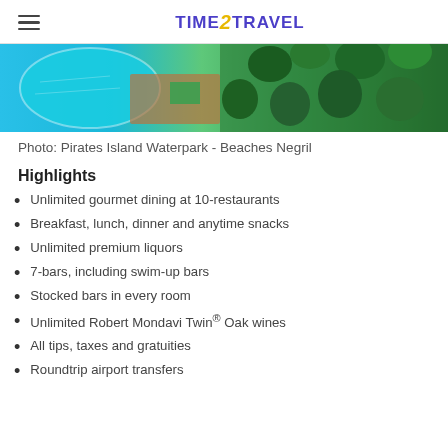TIME2TRAVEL
[Figure (photo): Aerial view of Pirates Island Waterpark at Beaches Negril, showing a blue pool surrounded by tropical greenery and wooden deck areas.]
Photo: Pirates Island Waterpark - Beaches Negril
Highlights
Unlimited gourmet dining at 10-restaurants
Breakfast, lunch, dinner and anytime snacks
Unlimited premium liquors
7-bars, including swim-up bars
Stocked bars in every room
Unlimited Robert Mondavi Twin® Oak wines
All tips, taxes and gratuities
Roundtrip airport transfers